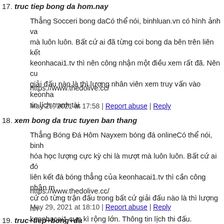17. truc tiep bong da hom.nay
Thẳng Socceri bong daCó thể nói, binhluan.vn có hình ảnh va mà luôn luôn. Bất cứ ai đã từng coi bong da bên trên liên kết keonhacai1.tv thì nên công nhận một điều xem rất đã. Nên cứ giải đấu nào là thì lượng nhân viên xem truy vấn vào keonha tin lịch tranh tài.
https://www.thedolive.cc/
May 29, 2021 at 17:58 | Report abuse | Reply
18. xem bong da truc tuyen ban thang
Thẳng Bóng Đá Hôm Nayxem bóng đá onlineCó thể nói, binh hóa học lượng cực kỳ chi là mượt mà luôn luôn. Bất cứ ai đó liên kết đá bóng thẳng của keonhacai1.tv thì cần công nhận m cứ có từng trận đấu trong bất cứ giải đấu nào là thì lượng nh keonhacai1 cực kì rộng lớn. Thông tin lịch thi đấu.
https://www.thedolive.cc/
May 29, 2021 at 18:10 | Report abuse | Reply
19. truc+tiep+bong+da
Trực Tiếp Soccer Ngày Hôm Naytruc tiep bóng đácũng có thể